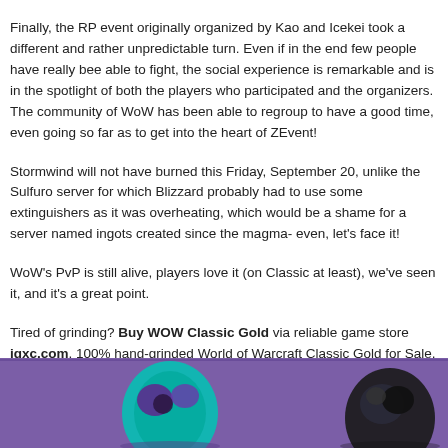Finally, the RP event originally organized by Kao and Icekei took a different and rather unpredictable turn. Even if in the end few people have really been able to fight, the social experience is remarkable and is in the spotlight of both the players who participated and the organizers. The community of WoW has been able to regroup to have a good time, even going so far as to get into the heart of ZEvent!
Stormwind will not have burned this Friday, September 20, unlike the Sulfuron server for which Blizzard probably had to use some extinguishers as it was overheating, which would be a shame for a server named ingots created since the magma- even, let's face it!
WoW's PvP is still alive, players love it (on Classic at least), we've seen it, and it's a great point.
Tired of grinding? Buy WOW Classic Gold via reliable game store igxc.com, 100% hand-grinded World of Warcraft Classic Gold for Sale, always in stock with instant delivery, 24/7 live support.
[Figure (illustration): Purple-themed background banner with game character figures partially visible at the bottom of the page.]